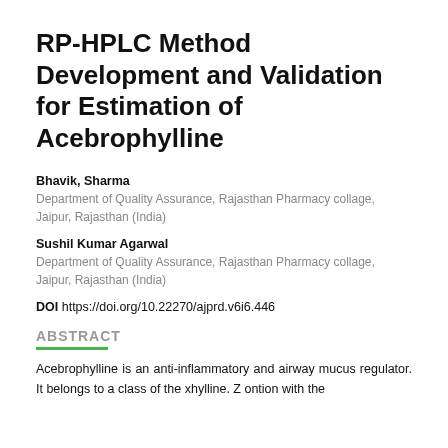RP-HPLC Method Development and Validation for Estimation of Acebrophylline
Bhavik, Sharma
Department of Quality Assurance, Rajasthan Pharmacy collage, Jaipur, Rajasthan (India)
Sushil Kumar Agarwal
Department of Quality Assurance, Rajasthan Pharmacy collage, Jaipur, Rajasthan (India)
DOI https://doi.org/10.22270/ajprd.v6i6.446
ABSTRACT
Acebrophylline is an anti-inflammatory and airway mucus regulator. It belongs to a class of the xhylline. Z ontion with the